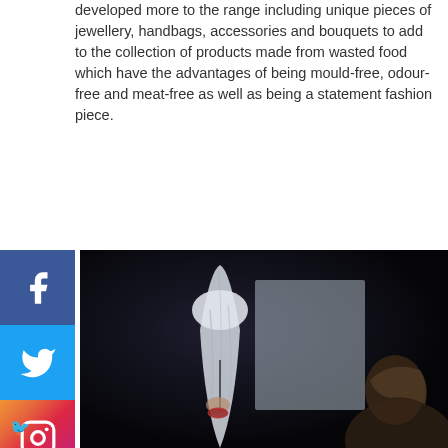developed more to the range including unique pieces of jewellery, handbags, accessories and bouquets to add to the collection of products made from wasted food which have the advantages of being mould-free, odour-free and meat-free as well as being a statement fashion piece.
[Figure (photo): A mannequin or figure draped in white translucent fabric/cloth displayed in a dark room, with a woman with dark hair visible in the lower right foreground looking at the display. A bright panel or screen is visible behind the figure.]